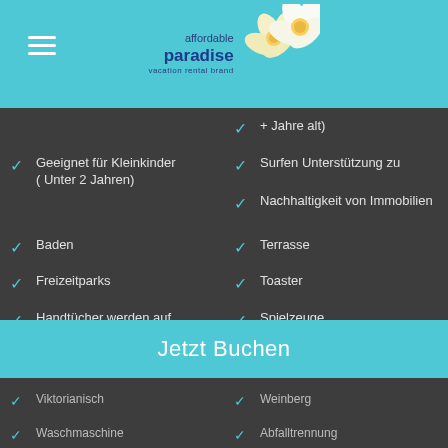[Figure (logo): Affordable Paradise vacation rental brand logo with two white/yellow frangipani flowers on teal background]
+ Jahre alt)
Surfen Unterstützung zu
Geeignet für Kleinkinder ( Unter 2 Jahren)
Nachhaltigkeit von Immobilien
Baden
Terrasse
Freizeitparks
Toaster
Handtücher werden auf Anfrage gewechselt
Spielzeuge
Reisebett für Kinder
Jetzt Buchen
Viktorianisch
Weinberg
Waschmaschine
Abfalltrennung